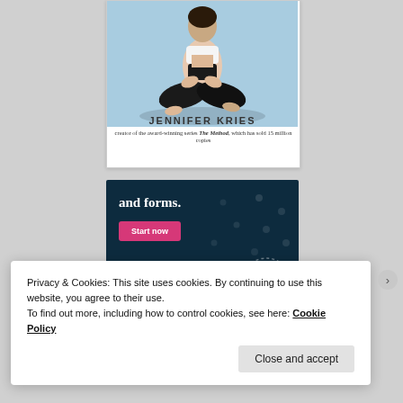[Figure (photo): Book cover showing a person in a yoga meditation pose (seated cross-legged) against a light blue background. The text 'JENNIFER KRIES' appears in large letters, with subtitle 'creator of the award-winning series The Method, which has sold 15 million copies'.]
[Figure (screenshot): Dark teal advertisement banner with white text 'and forms.' and a pink 'Start now' button. A partial circular logo for 'CROWD SIGNAL' appears in the lower right.]
Privacy & Cookies: This site uses cookies. By continuing to use this website, you agree to their use.
To find out more, including how to control cookies, see here: Cookie Policy
Close and accept